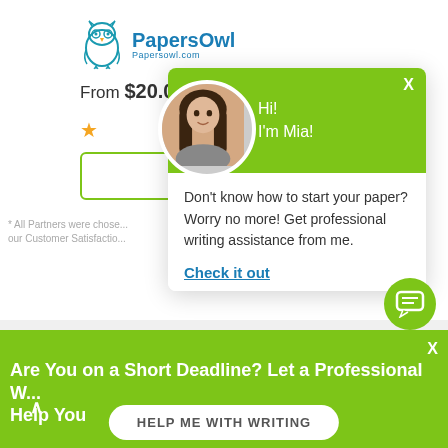[Figure (logo): PapersOwl logo with owl icon and text 'PapersOwl' and 'Papersowl.com']
From $20.00 per page
[Figure (illustration): Yellow star rating icon]
[Figure (screenshot): Chat popup overlay with green header, avatar photo of a woman named Mia, greeting 'Hi! I'm Mia!', message 'Don't know how to start your paper? Worry no more! Get professional writing assistance from me.', and 'Check it out' link]
Don't know how to start your paper? Worry no more! Get professional writing assistance from me.
Check it out
* All Partners were chose... our Customer Satisfactio...
Are You on a Short Deadline? Let a Professional W... Help You
HELP ME WITH WRITING